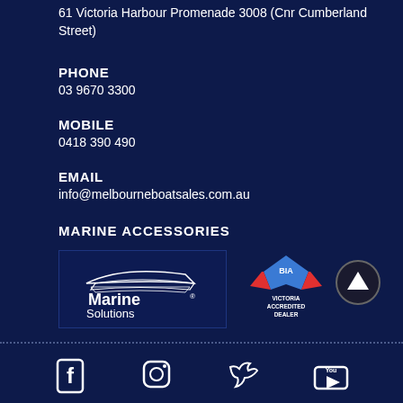61 Victoria Harbour Promenade 3008 (Cnr Cumberland Street)
PHONE
03 9670 3300
MOBILE
0418 390 490
EMAIL
info@melbourneboatsales.com.au
MARINE ACCESSORIES
[Figure (logo): Marine Solutions logo - white boat silhouette on dark blue background with Marine Solutions text]
[Figure (logo): BIA Victoria Accredited Dealer logo - blue and red eagle/bird emblem with BIA text]
[Figure (logo): Scroll to top button - dark circular button with upward triangle arrow]
[Figure (logo): Social media icons row - Facebook, Instagram, Twitter, YouTube icons]